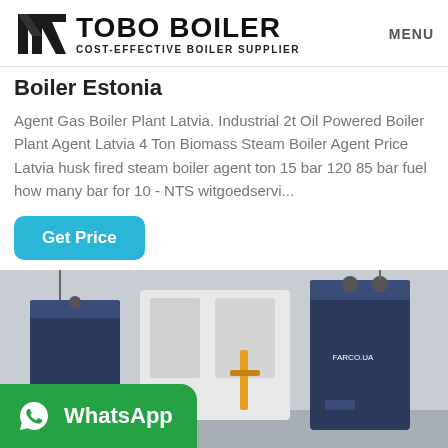TOBO BOILER — COST-EFFECTIVE BOILER SUPPLIER | MENU
Boiler Estonia
Agent Gas Boiler Plant Latvia. Industrial 2t Oil Powered Boiler Plant Agent Latvia 4 Ton Biomass Steam Boiler Agent Price Latvia husk fired steam boiler agent ton 15 bar 120 85 bar fuel how many bar for 10 - NTS witgoedservi...
Get Price
[Figure (photo): Industrial boiler equipment in a facility, showing large blue/dark boiler units with pipes and connections. WhatsApp contact badge overlaid in the bottom-left.]